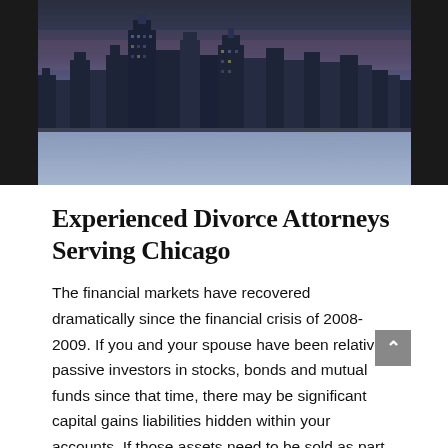[Figure (photo): Aerial photo of Chicago city skyline reflected in water at dusk, with dark sidebars on left and right]
Experienced Divorce Attorneys Serving Chicago
The financial markets have recovered dramatically since the financial crisis of 2008-2009. If you and your spouse have been relatively passive investors in stocks, bonds and mutual funds since that time, there may be significant capital gains liabilities hidden within your accounts. If those assets need to be sold as part of a divorce settlement, you may owe sums in the tax year in